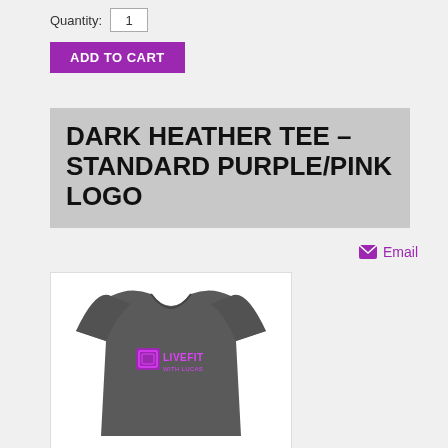Quantity: 1
ADD TO CART
DARK HEATHER TEE – STANDARD PURPLE/PINK LOGO
Email
[Figure (photo): Dark heather grey t-shirt with purple/pink LIVEFIT WITH LUCAS logo printed on the chest]